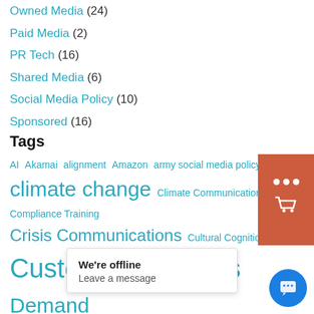Owned Media (24)
Paid Media (2)
PR Tech (16)
Shared Media (6)
Social Media Policy (10)
Sponsored (16)
Tags
AI Akamai alignment Amazon army social media policy climate change Climate Communications Compliance Training Crisis Communications Cultural Cognition Customer Journeys Demand Generation dig... Media Marketing is...